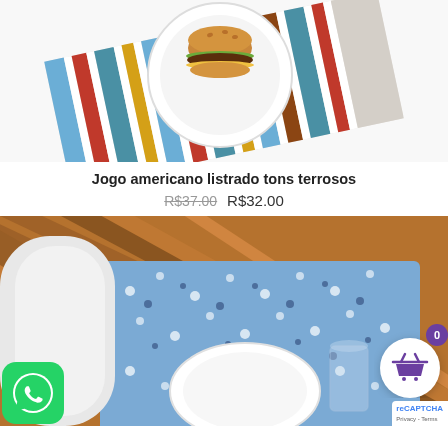[Figure (photo): Top-down photo of a striped placemat in blue, white, brown, and terracotta tones with a white plate holding a burger, on a white surface.]
Jogo americano listrado tons terrosos
R$37.00 R$32.00
[Figure (photo): Photo of a blue polka-dot placemat on a wooden table with a white plate, glass, and a white chair in the background. WhatsApp icon and shopping cart button overlaid.]